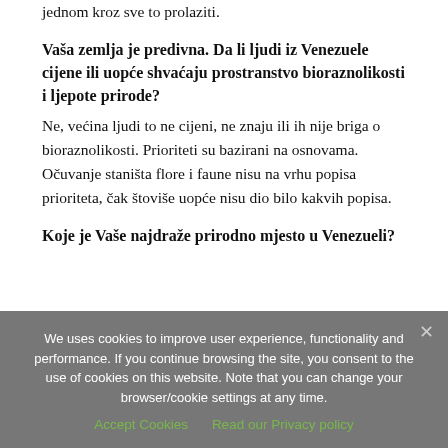jednom kroz sve to prolaziti.
Vaša zemlja je predivna. Da li ljudi iz Venezuele cijene ili uopće shvaćaju prostranstvo bioraznolikosti i ljepote prirode?
Ne, većina ljudi to ne cijeni, ne znaju ili ih nije briga o bioraznolikosti. Prioriteti su bazirani na osnovama. Očuvanje staništa flore i faune nisu na vrhu popisa prioriteta, čak štoviše uopće nisu dio bilo kakvih popisa.
Koje je Vaše najdraže prirodno mjesto u Venezueli?
We uses cookies to improve user experience, functionality and performance. If you continue browsing the site, you consent to the use of cookies on this website. Note that you can change your browser/cookie settings at any time.
Accept Cookies   Read our Privacy policy